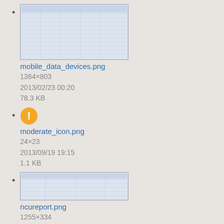mobile_data_devices.png
1364×803
2013/02/23 00:20
78.3 KB
moderate_icon.png
24×23
2013/09/19 19:15
1.1 KB
ncureport.png
1255×334
2013/12/16 19:51
29.9 KB
netserver_5.4.0_admin_guide.pdf